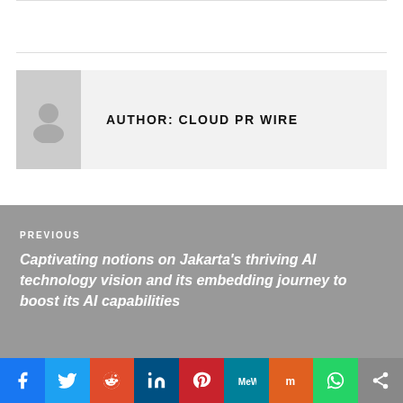AUTHOR: CLOUD PR WIRE
PREVIOUS
Captivating notions on Jakarta's thriving AI technology vision and its embedding journey to boost its AI capabilities